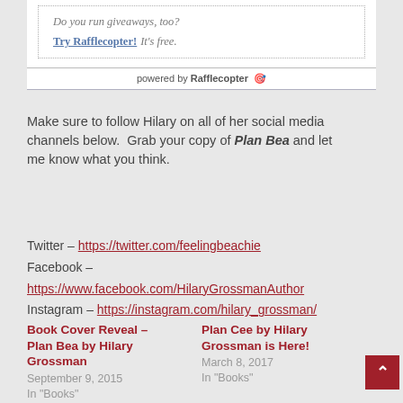[Figure (screenshot): Rafflecopter widget showing 'Do you run giveaways, too? Try Rafflecopter! It's free.' inside a dotted border, with 'powered by Rafflecopter' footer bar]
Make sure to follow Hilary on all of her social media channels below.  Grab your copy of Plan Bea and let me know what you think.
Twitter – https://twitter.com/feelingbeachie
Facebook – https://www.facebook.com/HilaryGrossmanAuthor
Instagram – https://instagram.com/hilary_grossman/
Book Cover Reveal – Plan Bea by Hilary Grossman
September 9, 2015
In "Books"
Plan Cee by Hilary Grossman is Here!
March 8, 2017
In "Books"